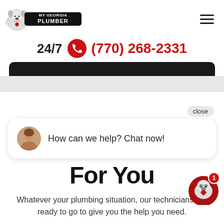[Figure (logo): My Georgia Plumber logo with bulldog mascot and bold stylized text]
24/7  (770) 268-2331
[Figure (screenshot): Dark rounded navigation bar partially visible at top]
close
[Figure (photo): Chat bubble with avatar of a woman and text: How can we help? Chat now!]
For You
Whatever your plumbing situation, our technicians are ready to go to give you the help you need.
[Figure (logo): My Georgia Plumber bulldog icon with red badge showing number 1]